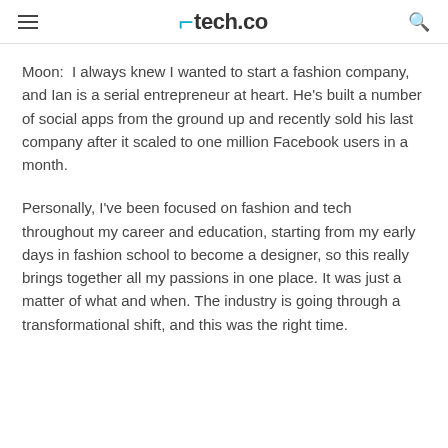tech.co
Moon:  I always knew I wanted to start a fashion company, and Ian is a serial entrepreneur at heart. He's built a number of social apps from the ground up and recently sold his last company after it scaled to one million Facebook users in a month.
Personally, I've been focused on fashion and tech throughout my career and education, starting from my early days in fashion school to become a designer, so this really brings together all my passions in one place. It was just a matter of what and when. The industry is going through a transformational shift, and this was the right time.